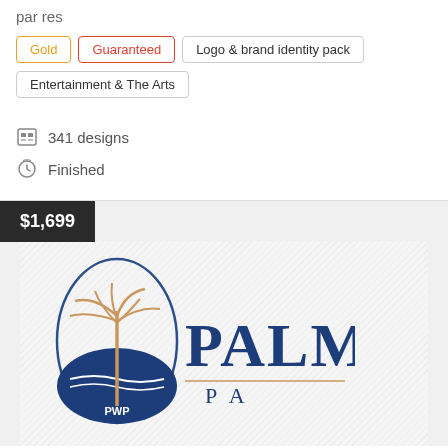par res
Gold
Guaranteed
Logo & brand identity pack
Entertainment & The Arts
341 designs
Finished
$1,699
[Figure (logo): PWP Palm logo with palm tree and ocean waves in a navy oval, with text PALM and partial letters visible]